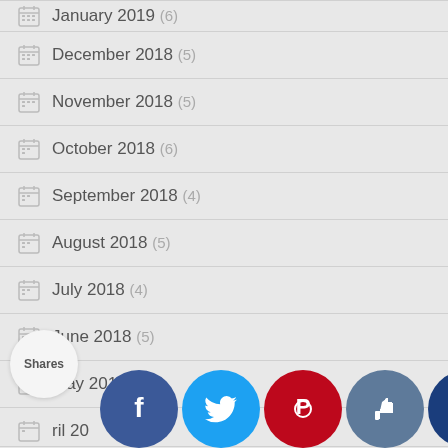January 2019 (6)
December 2018 (5)
November 2018 (5)
October 2018 (6)
September 2018 (4)
August 2018 (5)
July 2018 (4)
June 2018 (5)
May 2018 (4)
April 20…